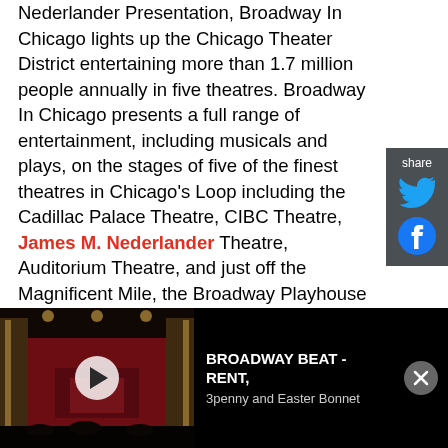Nederlander Presentation, Broadway In Chicago lights up the Chicago Theater District entertaining more than 1.7 million people annually in five theatres. Broadway In Chicago presents a full range of entertainment, including musicals and plays, on the stages of five of the finest theatres in Chicago's Loop including the Cadillac Palace Theatre, CIBC Theatre, James M. Nederlander Theatre, Auditorium Theatre, and just off the Magnificent Mile, the Broadway Playhouse at Water Tower Place.
COVID-19 PROTOCOL
Our audiences are required to wear masks and show
[Figure (screenshot): Video thumbnail showing Broadway theater interior with red stage curtains and golden arch details, overlaid with a play button. Alongside: video title 'BROADWAY BEAT - RENT, 3penny and Easter Bonnet' with a close button.]